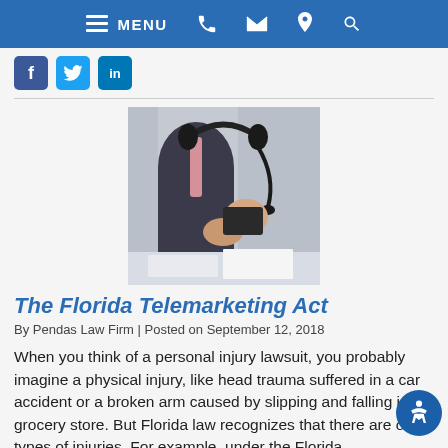MENU
[Figure (illustration): Social media icons: Facebook, Twitter, LinkedIn]
[Figure (photo): Person in business attire holding a telephone headset, calling center context]
The Florida Telemarketing Act
By Pendas Law Firm | Posted on September 12, 2018
When you think of a personal injury lawsuit, you probably imagine a physical injury, like head trauma suffered in a car accident or a broken arm caused by slipping and falling in a grocery store. But Florida law recognizes that there are other types of injuries. For example, under the Florida Telemarketing Act,